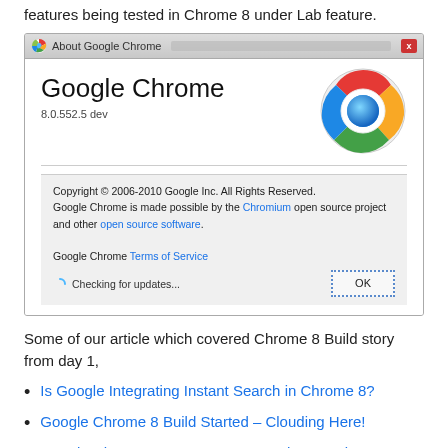features being tested in Chrome 8 under Lab feature.
[Figure (screenshot): Screenshot of the 'About Google Chrome' dialog showing Google Chrome version 8.0.552.5 dev, with the Chrome logo, copyright notice, links to Chromium and open source software, Terms of Service link, and an OK button with 'Checking for updates...' status.]
Some of our article which covered Chrome 8 Build story from day 1,
Is Google Integrating Instant Search in Chrome 8?
Google Chrome 8 Build Started – Clouding Here!
Google Chrome 8 Gets Instant Search As Option!